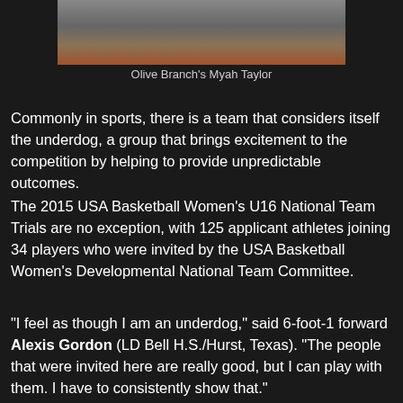[Figure (photo): Basketball players in action on a court, partial view showing players' legs and feet]
Olive Branch's Myah Taylor
Commonly in sports, there is a team that considers itself the underdog, a group that brings excitement to the competition by helping to provide unpredictable outcomes.
The 2015 USA Basketball Women's U16 National Team Trials are no exception, with 125 applicant athletes joining 34 players who were invited by the USA Basketball Women's Developmental National Team Committee.
“I feel as though I am an underdog,” said 6-foot-1 forward Alexis Gordon (LD Bell H.S./Hurst, Texas). “The people that were invited here are really good, but I can play with them. I have to consistently show that.”